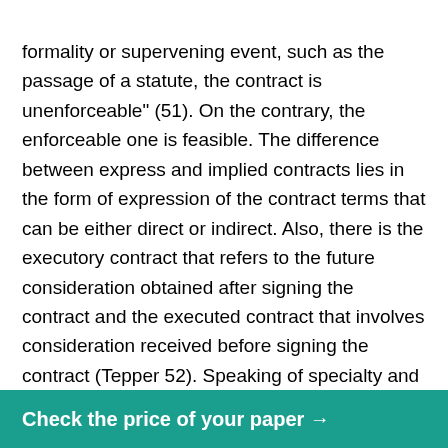formality or supervening event, such as the passage of a statute, the contract is unenforceable" (51). On the contrary, the enforceable one is feasible. The difference between express and implied contracts lies in the form of expression of the contract terms that can be either direct or indirect. Also, there is the executory contract that refers to the future consideration obtained after signing the contract and the executed contract that involves consideration received before signing the contract (Tepper 52). Speaking of specialty and simple contracts, it is essential to note that the first ones imply a formal written form and obligatory signing, while the second ones can be made orally or in another informal way. The two core methods of contracting are negotiation and standardization.

The contract is regarded as valid when it corresponds to consideration, intention
Check the price of your paper →